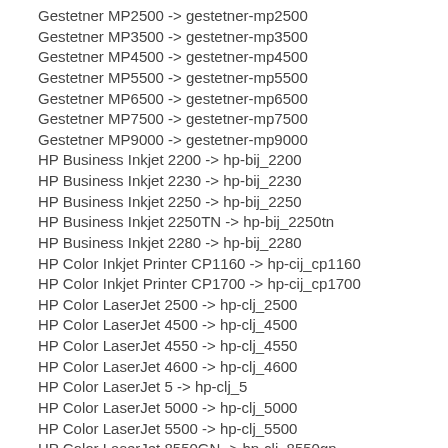Gestetner MP2500 -> gestetner-mp2500
Gestetner MP3500 -> gestetner-mp3500
Gestetner MP4500 -> gestetner-mp4500
Gestetner MP5500 -> gestetner-mp5500
Gestetner MP6500 -> gestetner-mp6500
Gestetner MP7500 -> gestetner-mp7500
Gestetner MP9000 -> gestetner-mp9000
HP Business Inkjet 2200 -> hp-bij_2200
HP Business Inkjet 2230 -> hp-bij_2230
HP Business Inkjet 2250 -> hp-bij_2250
HP Business Inkjet 2250TN -> hp-bij_2250tn
HP Business Inkjet 2280 -> hp-bij_2280
HP Color Inkjet Printer CP1160 -> hp-cij_cp1160
HP Color Inkjet Printer CP1700 -> hp-cij_cp1700
HP Color LaserJet 2500 -> hp-clj_2500
HP Color LaserJet 4500 -> hp-clj_4500
HP Color LaserJet 4550 -> hp-clj_4550
HP Color LaserJet 4600 -> hp-clj_4600
HP Color LaserJet 5 -> hp-clj_5
HP Color LaserJet 5000 -> hp-clj_5000
HP Color LaserJet 5500 -> hp-clj_5500
HP Color LaserJet 8550GN -> hp-clj_8550gn
HP DesignJet 230 -> pcl-desnj-230
HP DesignJet 2500CP -> pcl-desnj-2500
HP DesignJet 250C -> pcl-desnj-250